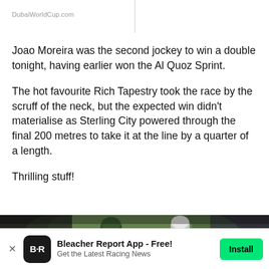DubaiWorldCup.com
Joao Moreira was the second jockey to win a double tonight, having earlier won the Al Quoz Sprint.
The hot favourite Rich Tapestry took the race by the scruff of the neck, but the expected win didn't materialise as Sterling City powered through the final 200 metres to take it at the line by a quarter of a length.
Thrilling stuff!
[Figure (photo): Photo of jockeys on horseback during a race, blurred background]
Bleacher Report App - Free! Get the Latest Racing News